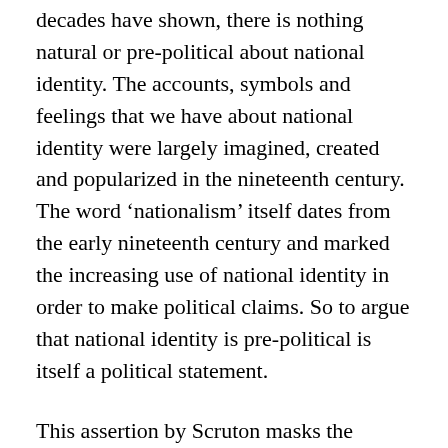decades have shown, there is nothing natural or pre-political about national identity. The accounts, symbols and feelings that we have about national identity were largely imagined, created and popularized in the nineteenth century. The word ‘nationalism’ itself dates from the early nineteenth century and marked the increasing use of national identity in order to make political claims. So to argue that national identity is pre-political is itself a political statement.
This assertion by Scruton masks the extent to which the success of national identity as a socio-political tool derives precisely from its flexibility: the extraordinary ability nationalism has had at moments in persuading people who are highly diverse that they are members